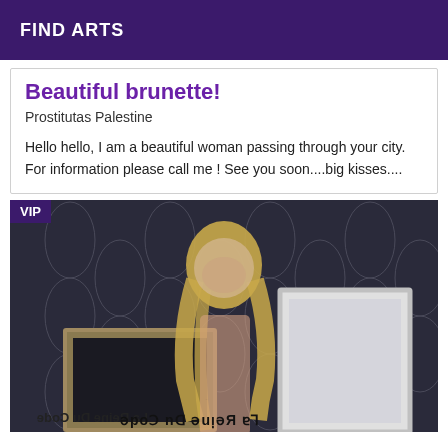FIND ARTS
Beautiful brunette!
Prostitutas Palestine
Hello hello, I am a beautiful woman passing through your city. For information please call me ! See you soon....big kisses....
[Figure (photo): Photo of a blonde woman standing in front of decorative wallpaper with two picture frames. A VIP badge is shown in the top left corner. Mirror text at the bottom reads 'La Reine Du Code'.]